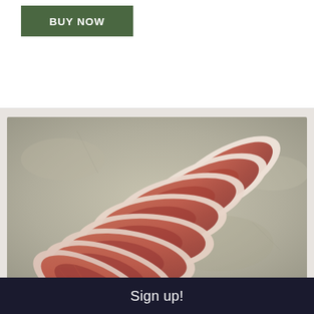[Figure (other): Green BUY NOW button, partially visible at top of page]
[Figure (photo): Photograph of dry cured back bacon slices fanned out on a grey stone surface]
DRY CURED BACK BACON SLICES (300G)
£4.50
Weight: 300g
Sign up!